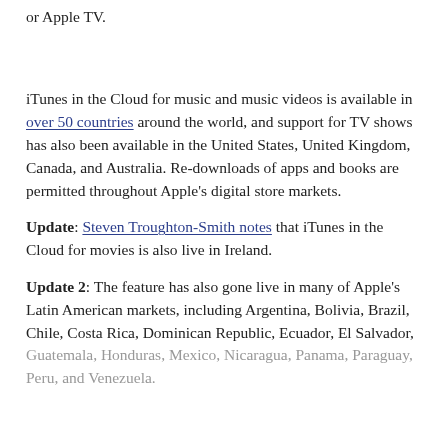or Apple TV.
iTunes in the Cloud for music and music videos is available in over 50 countries around the world, and support for TV shows has also been available in the United States, United Kingdom, Canada, and Australia. Re-downloads of apps and books are permitted throughout Apple's digital store markets.
Update: Steven Troughton-Smith notes that iTunes in the Cloud for movies is also live in Ireland.
Update 2: The feature has also gone live in many of Apple's Latin American markets, including Argentina, Bolivia, Brazil, Chile, Costa Rica, Dominican Republic, Ecuador, El Salvador, Guatemala, Honduras, Mexico, Nicaragua, Panama, Paraguay, Peru, and Venezuela.